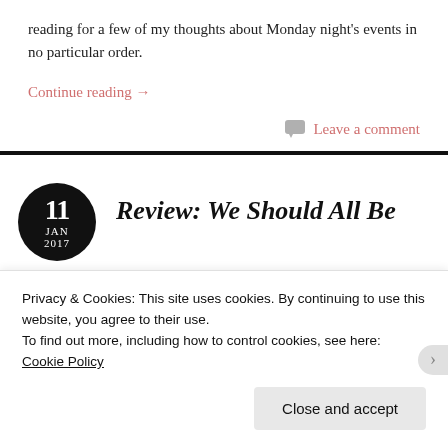reading for a few of my thoughts about Monday night's events in no particular order.
Continue reading →
Leave a comment
Review: We Should All Be
Privacy & Cookies: This site uses cookies. By continuing to use this website, you agree to their use.
To find out more, including how to control cookies, see here: Cookie Policy
Close and accept